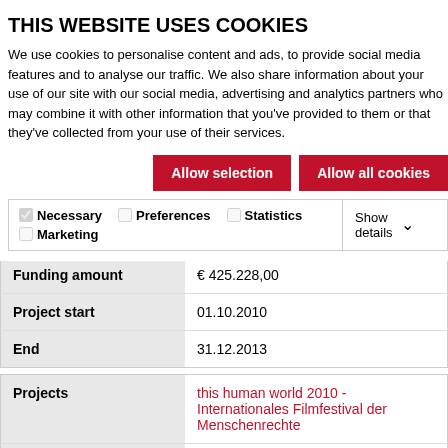THIS WEBSITE USES COOKIES
We use cookies to personalise content and ads, to provide social media features and to analyse our traffic. We also share information about your use of our site with our social media, advertising and analytics partners who may combine it with other information that you've provided to them or that they've collected from your use of their services.
Allow selection | Allow all cookies
Necessary  Preferences  Statistics  Marketing  Show details
| Funding amount | € 425.228,00 |
| Project start | 01.10.2010 |
| End | 31.12.2013 |
| Projects | this human world 2010 - Internationales Filmfestival der Menschenrechte |
| Contract partner | This Human World / Diese |